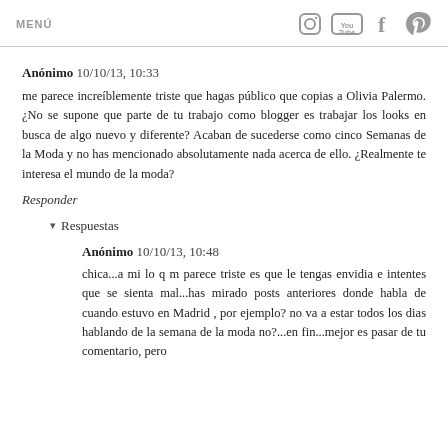MENÚ
Anónimo 10/10/13, 10:33
me parece increíblemente triste que hagas público que copias a Olivia Palermo. ¿No se supone que parte de tu trabajo como blogger es trabajar los looks en busca de algo nuevo y diferente? Acaban de sucederse como cinco Semanas de la Moda y no has mencionado absolutamente nada acerca de ello. ¿Realmente te interesa el mundo de la moda?
Responder
▾ Respuestas
Anónimo 10/10/13, 10:48
chica...a mi lo q m parece triste es que le tengas envidia e intentes que se sienta mal...has mirado posts anteriores donde habla de cuando estuvo en Madrid , por ejemplo? no va a estar todos los dias hablando de la semana de la moda no?...en fin...mejor es pasar de tu comentario, pero